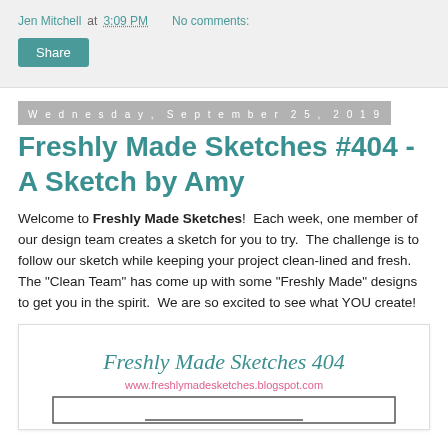Jen Mitchell at 3:09 PM   No comments:
Share
Wednesday, September 25, 2019
Freshly Made Sketches #404 - A Sketch by Amy
Welcome to Freshly Made Sketches! Each week, one member of our design team creates a sketch for you to try. The challenge is to follow our sketch while keeping your project clean-lined and fresh. The "Clean Team" has come up with some "Freshly Made" designs to get you in the spirit. We are so excited to see what YOU create!
[Figure (illustration): Freshly Made Sketches 404 logo with website URL www.freshlymadesketches.blogspot.com and a sketch layout box below]